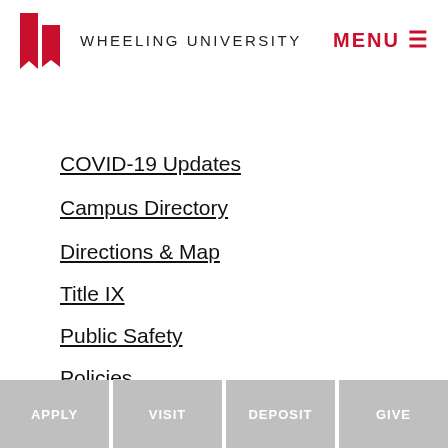WHEELING UNIVERSITY | MENU
COVID-19 Updates
Campus Directory
Directions & Map
Title IX
Public Safety
Policies
Consumer Information
Accreditation Status
Employment Opportunities
APPLY | VISIT | DEPOSIT | GIVE